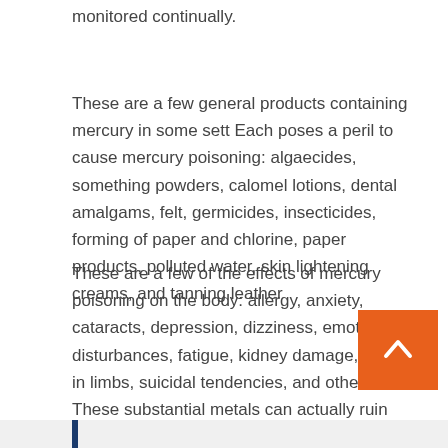monitored continually.
These are a few general products containing mercury in some sett Each poses a peril to cause mercury poisoning: algaecides, something powders, calomel lotions, dental amalgams, felt, germicides, insecticides, forming of paper and chlorine, paper products, polluted water, skin lightening creams, and tanning leather
These are a few of the effects of mercury poisoning on the body: allergy, anxiety, cataracts, depression, dizziness, emotional disturbances, fatigue, kidney damage, pain in limbs, suicidal tendencies, and others These substantial metals can actually ruin DNA increasing the venture of cancer.